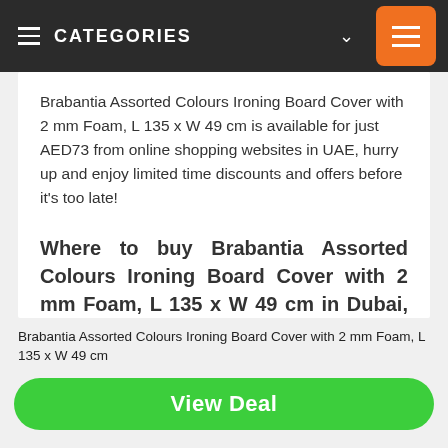CATEGORIES
Brabantia Assorted Colours Ironing Board Cover with 2 mm Foam, L 135 x W 49 cm is available for just AED73 from online shopping websites in UAE, hurry up and enjoy limited time discounts and offers before it's too late!
Where to buy Brabantia Assorted Colours Ironing Board Cover with 2 mm Foam, L 135 x W 49 cm in Dubai, UAE?
You can buyBrabantia Assorted Colours Ironing
Brabantia Assorted Colours Ironing Board Cover with 2 mm Foam, L 135 x W 49 cm
View Deal